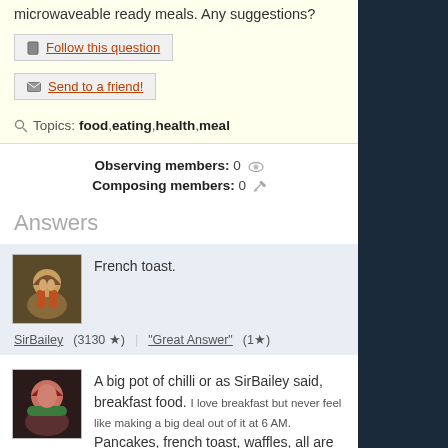microwaveable ready meals. Any suggestions?
Follow this question
Send to a friend!
Topics: food, eating, health, meal
Observing members: 0
Composing members: 0
Answers
French toast.
SirBailey (3130 ★) | "Great Answer" (1★)
A big pot of chilli or as SirBailey said, breakfast food. I love breakfast but never feel like making a big deal out of it at 6 AM. Pancakes, french toast, waffles, all are equally as wonderful.